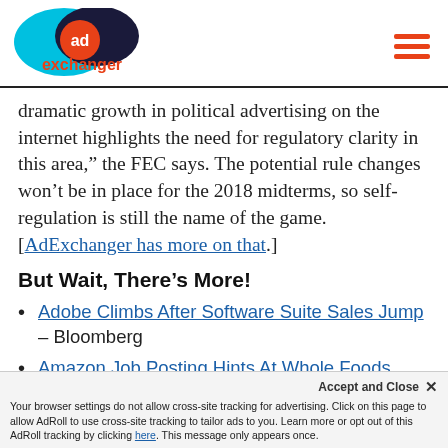AdExchanger logo and hamburger menu
dramatic growth in political advertising on the internet highlights the need for regulatory clarity in this area," the FEC says. The potential rule changes won't be in place for the 2018 midterms, so self-regulation is still the name of the game. [AdExchanger has more on that.]
But Wait, There's More!
Adobe Climbs After Software Suite Sales Jump – Bloomberg
Amazon Job Posting Hints At Whole Foods Plans – Business Insider
Viewable In-Game Ads – TechCrunch
Accept and Close ×
Your browser settings do not allow cross-site tracking for advertising. Click on this page to allow AdRoll to use cross-site tracking to tailor ads to you. Learn more or opt out of this AdRoll tracking by clicking here. This message only appears once.